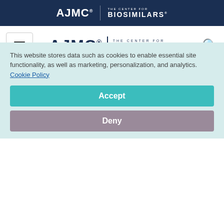[Figure (logo): AJMC top banner with AJMC logo and The Center for Biosimilars logo on dark navy background]
[Figure (logo): Navigation bar with hamburger menu, AJMC The Center for Biosimilars main logo, and search icon]
Psoriasis
In cases of moderate or severe psoriasis, systemic methotrexate or anti-TNFs such as adalimumab are indicated.
This website stores data such as cookies to enable essential site functionality, as well as marketing, personalization, and analytics. Cookie Policy
Accept
Deny